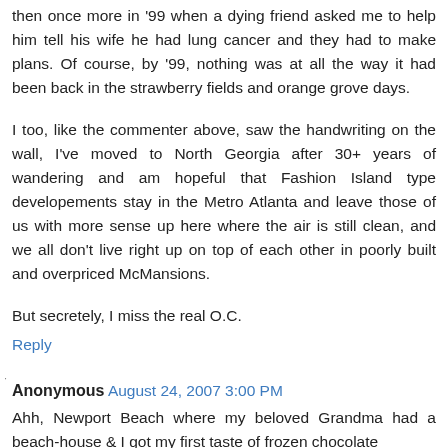then once more in '99 when a dying friend asked me to help him tell his wife he had lung cancer and they had to make plans. Of course, by '99, nothing was at all the way it had been back in the strawberry fields and orange grove days.
I too, like the commenter above, saw the handwriting on the wall, I've moved to North Georgia after 30+ years of wandering and am hopeful that Fashion Island type developements stay in the Metro Atlanta and leave those of us with more sense up here where the air is still clean, and we all don't live right up on top of each other in poorly built and overpriced McMansions.
But secretely, I miss the real O.C.
Reply
Anonymous August 24, 2007 3:00 PM
Ahh, Newport Beach where my beloved Grandma had a beach-house & I got my first taste of frozen chocolate